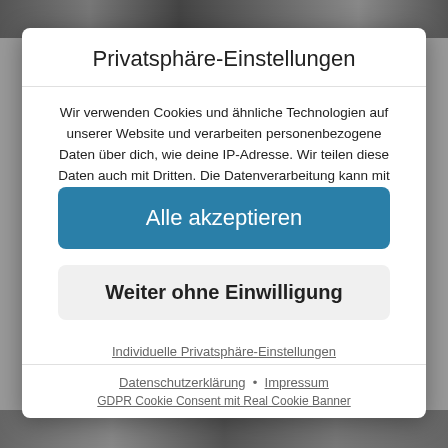Privatsphäre-Einstellungen
Wir verwenden Cookies und ähnliche Technologien auf unserer Website und verarbeiten personenbezogene Daten über dich, wie deine IP-Adresse. Wir teilen diese Daten auch mit Dritten. Die Datenverarbeitung kann mit deiner Einwilligung oder auf Basis eines berechtigten Interesses erfolgen, dem du in den individuellen Privatsphäre-Einstellungen widersprechen kannst. Du hast das
Alle akzeptieren
Weiter ohne Einwilligung
Individuelle Privatsphäre-Einstellungen
Datenschutzerklärung • Impressum
GDPR Cookie Consent mit Real Cookie Banner